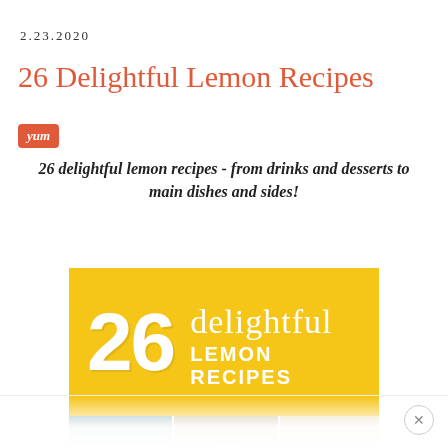2.23.2020
26 Delightful Lemon Recipes
yum
26 delightful lemon recipes - from drinks and desserts to main dishes and sides!
[Figure (photo): Promotional image for 26 Delightful Lemon Recipes featuring yellow banner with large '26 delightful LEMON RECIPES' text and three food photos below showing lemon dishes]